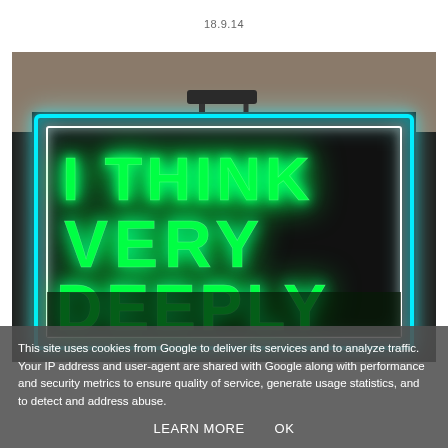18.9.14
[Figure (photo): A neon sign on a dark background reading 'I THINK VERY DEEPLY' in bright green neon letters with a blue/white neon border frame]
This site uses cookies from Google to deliver its services and to analyze traffic. Your IP address and user-agent are shared with Google along with performance and security metrics to ensure quality of service, generate usage statistics, and to detect and address abuse.
LEARN MORE   OK